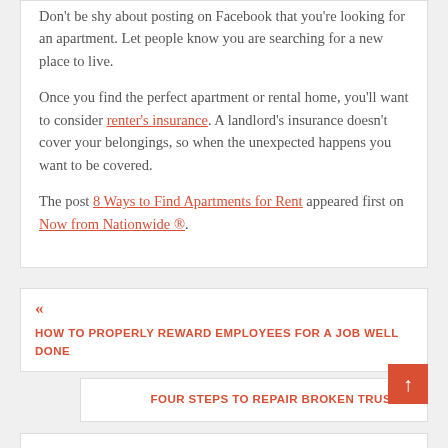Don't be shy about posting on Facebook that you're looking for an apartment. Let people know you are searching for a new place to live.
Once you find the perfect apartment or rental home, you'll want to consider renter's insurance. A landlord's insurance doesn't cover your belongings, so when the unexpected happens you want to be covered.
The post 8 Ways to Find Apartments for Rent appeared first on Now from Nationwide ®.
HOW TO PROPERLY REWARD EMPLOYEES FOR A JOB WELL DONE
FOUR STEPS TO REPAIR BROKEN TRUST